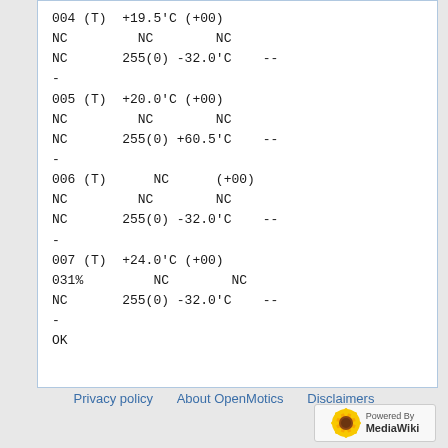004 (T)  +19.5'C (+00)
NC         NC        NC
NC       255(0) -32.0'C    --
-
005 (T)  +20.0'C (+00)
NC         NC        NC
NC       255(0) +60.5'C    --
-
006 (T)      NC      (+00)
NC         NC        NC
NC       255(0) -32.0'C    --
-
007 (T)  +24.0'C (+00)
031%         NC        NC
NC       255(0) -32.0'C    --
-
OK
Privacy policy   About OpenMotics   Disclaimers